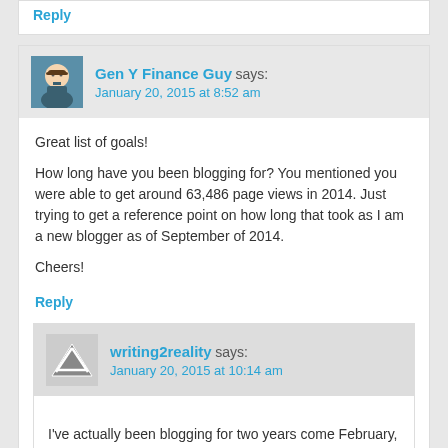Reply
Gen Y Finance Guy says: January 20, 2015 at 8:52 am
Great list of goals!

How long have you been blogging for? You mentioned you were able to get around 63,486 page views in 2014. Just trying to get a reference point on how long that took as I am a new blogger as of September of 2014.

Cheers!
Reply
writing2reality says: January 20, 2015 at 10:14 am
I've actually been blogging for two years come February, but my blogs growth has been stymied as a result of taking some extended breaks in posting. Needless to say, I'm probably not